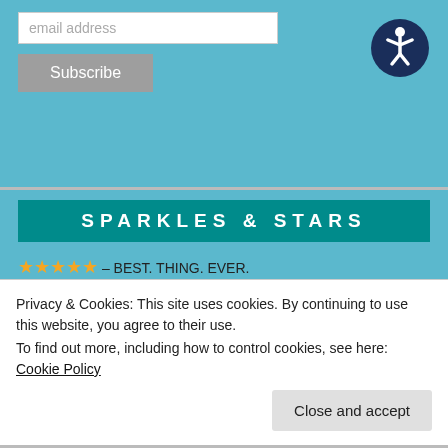email address
Subscribe
[Figure (illustration): Accessibility icon — circular dark blue badge with a white human figure in a wheelchair/accessibility pose]
SPARKLES & STARS
★★★★★ – BEST. THING. EVER.
★★★★ 1/2 – Awesome, almost perfect.
★★★★ – I dig this.
★★★ 1/2 – Good, a little above average.
★★★ – It was fine.
★★ 1/2 – This could have gone better?
Privacy & Cookies: This site uses cookies. By continuing to use this website, you agree to their use.
To find out more, including how to control cookies, see here: Cookie Policy
Close and accept